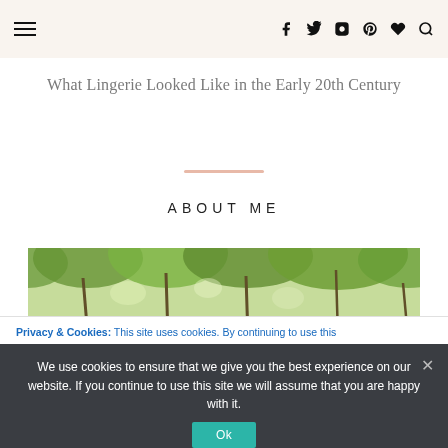Navigation header with hamburger menu and social icons (f, twitter, instagram, pinterest, heart, search)
What Lingerie Looked Like in the Early 20th Century
ABOUT ME
[Figure (photo): Forest canopy photo showing green trees and branches viewed from below against bright sky]
Privacy & Cookies: This site uses cookies. By continuing to use this
We use cookies to ensure that we give you the best experience on our website. If you continue to use this site we will assume that you are happy with it.
Ok